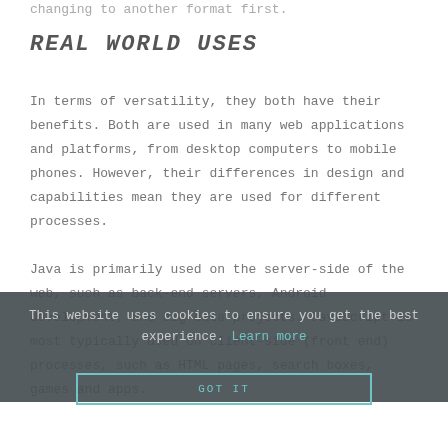changing to another format first.
REAL WORLD USES
In terms of versatility, they both have their benefits. Both are used in many web applications and platforms, from desktop computers to mobile phones. However, their differences in design and capabilities mean they are used for different processes.
Java is primarily used on the server-side of the web, such as back-end servers, Android development, and big data projects. JavaScript is most typically used on client-side (front end) processes, such as HTML pages, search boxes, games and apps.
This website uses cookies to ensure you get the best experience. Learn more
GOT IT